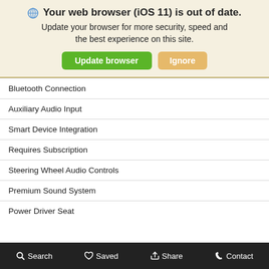🌐 Your web browser (iOS 11) is out of date. Update your browser for more security, speed and the best experience on this site.
Bluetooth Connection
Auxiliary Audio Input
Smart Device Integration
Requires Subscription
Steering Wheel Audio Controls
Premium Sound System
Power Driver Seat
Power Passenger Seat
Bucket Seats
Heated Front Seat(s)
Driver Adjustable Lumbar
Search   Saved   Share   Contact